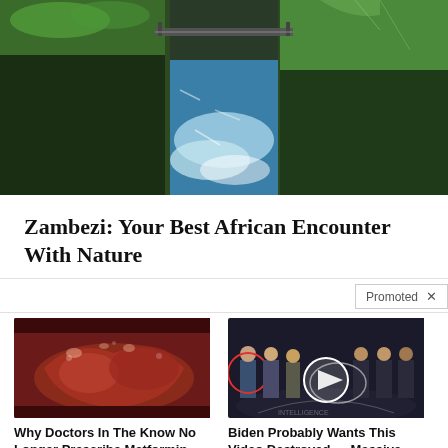[Figure (photo): Aerial view of the Zambezi River gorge, showing a bridge over the gorge with lush green vegetation on the cliffs and turbulent blue-white water below]
Zambezi: Your Best African Encounter With Nature
Promoted X
[Figure (photo): Close-up medical image of organ tissue, reddish-brown intestinal or organ tissue]
Why Doctors In The Know No Longer Prescribe Metformin
🔥 112,982
[Figure (photo): Group of men in suits standing in a formal setting, CIA headquarters logo floor visible, with red circle highlighting one person and a video play button overlay]
Biden Probably Wants This Video Destroyed — Massive Currency Upheaval Has Started
🔥 199,849